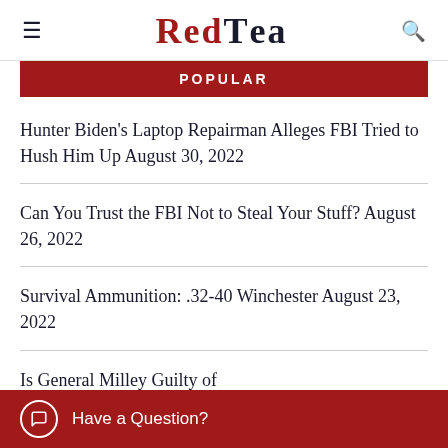RED TEA
POPULAR
Hunter Biden's Laptop Repairman Alleges FBI Tried to Hush Him Up August 30, 2022
Can You Trust the FBI Not to Steal Your Stuff? August 26, 2022
Survival Ammunition: .32-40 Winchester August 23, 2022
Is General Milley Guilty of
Have a Question?